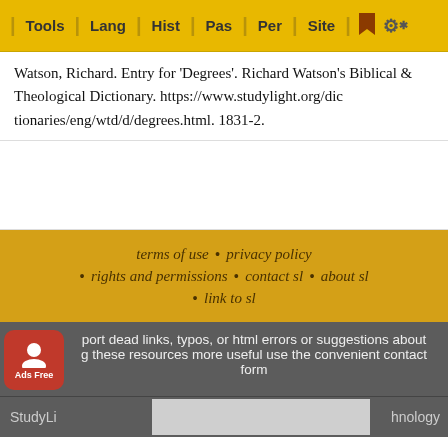Tools | Lang | Hist | Pas | Per | Site
Watson, Richard. Entry for 'Degrees'. Richard Watson's Biblical & Theological Dictionary. https://www.studylight.org/dictionaries/eng/wtd/d/degrees.html. 1831-2.
terms of use • privacy policy • rights and permissions • contact sl • about sl • link to sl
To report dead links, typos, or html errors or suggestions about making these resources more useful use the convenient contact form
StudyLight ... hnology